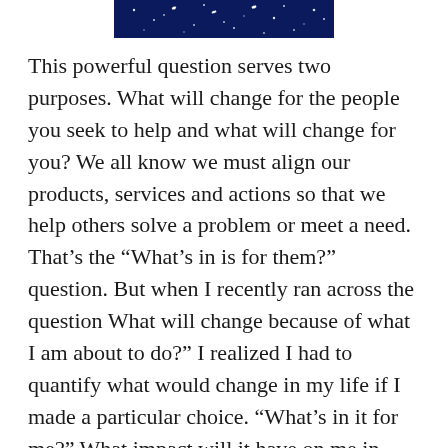[decorative star banner image]
This powerful question serves two purposes. What will change for the people you seek to help and what will change for you? We all know we must align our products, services and actions so that we help others solve a problem or meet a need. That’s the “What’s in is for them?” question. But when I recently ran across the question What will change because of what I am about to do?” I realized I had to quantify what would change in my life if I made a particular choice. “What’s in it for me?” What impact will it have on me in terms